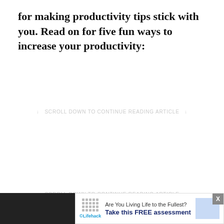for making productivity tips stick with you. Read on for five fun ways to increase your productivity:
↓ SCROLL DOWN TO CONTINUE READING ARTICLE ↓
↓ SCROLL DOWN TO CONTINUE READING ARTICLE ↓
[Figure (screenshot): Advertisement banner at the bottom: Lifehack logo with dots pattern, text 'Are You Living Life to the Fullest?' and 'Take this FREE assessment', blue illustration on right, close X button.]